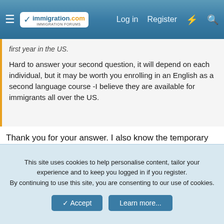immigration.com — Log in | Register
first year in the US.
Hard to answer your second question, it will depend on each individual, but it may be worth you enrolling in an English as a second language course -I believe they are available for immigrants all over the US.
Thank you for your answer. I also know the temporary GC I-155 stamped in my passport working as a GC plastic but I want to apply Affidavit of Single Status and my attorney tell me that I have to have GC plastic because he needs 2-3 copied of my GC. I don't know it is true. My English is not well is my weak-point so I can't talk to the officers directly to ask about my case. 🙁(
This site uses cookies to help personalise content, tailor your experience and to keep you logged in if you register.
By continuing to use this site, you are consenting to our use of cookies.